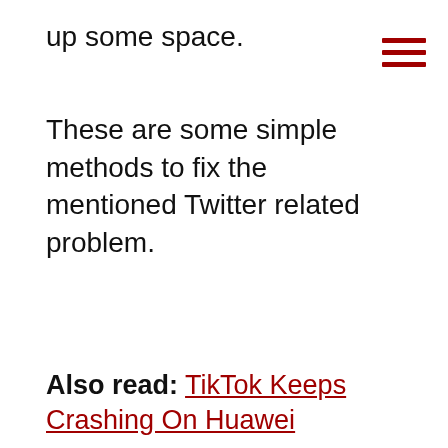up some space.
These are some simple methods to fix the mentioned Twitter related problem.
Also read: TikTok Keeps Crashing On Huawei